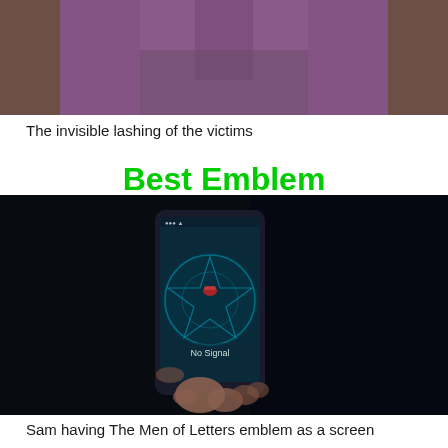[Figure (photo): A person wearing a purple/mauve long-sleeve shirt or dress, photographed from mid-torso down, standing in what appears to be a wooden interior.]
The invisible lashing of the victims
Best Emblem
[Figure (photo): A dark, moody photograph of a hand holding a smartphone displaying 'No Signal' on a screen with a pentagram/Men of Letters emblem glowing in teal/blue against a dark background.]
Sam having The Men of Letters emblem as a screen